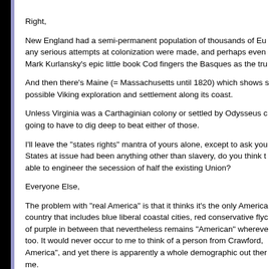Right,
New England had a semi-permanent population of thousands of Eu any serious attempts at colonization were made, and perhaps even Mark Kurlansky's epic little book Cod fingers the Basques as the tru
And then there's Maine (= Massachusetts until 1820) which shows s possible Viking exploration and settlement along its coast.
Unless Virginia was a Carthaginian colony or settled by Odysseus c going to have to dig deep to beat either of those.
I'll leave the "states rights" mantra of yours alone, except to ask you States at issue had been anything other than slavery, do you think t able to engineer the secession of half the existing Union?
Everyone Else,
The problem with "real America" is that it thinks it's the only America country that includes blue liberal coastal cities, red conservative flyc of purple in between that nevertheless remains "American" whereve too. It would never occur to me to think of a person from Crawford, America", and yet there is apparently a whole demographic out ther me.